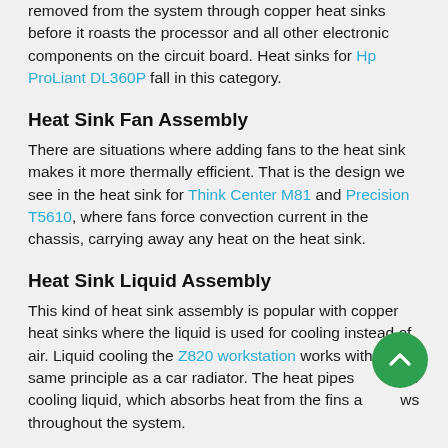removed from the system through copper heat sinks before it roasts the processor and all other electronic components on the circuit board. Heat sinks for Hp ProLiant DL360P fall in this category.
Heat Sink Fan Assembly
There are situations where adding fans to the heat sink makes it more thermally efficient. That is the design we see in the heat sink for Think Center M81 and Precision T5610, where fans force convection current in the chassis, carrying away any heat on the heat sink.
Heat Sink Liquid Assembly
This kind of heat sink assembly is popular with copper heat sinks where the liquid is used for cooling instead of air. Liquid cooling the Z820 workstation works with the same principle as a car radiator. The heat pipes carry the cooling liquid, which absorbs heat from the fins and flows throughout the system.
Buy a heat sink for any server or IT equipment that you have from ALLHDD. We have a collection of heat sinks